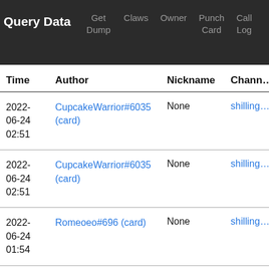Query Data  Get Dump  Claws  Owner  Punch Card  Call Log
| Time | Author | Nickname | Chann… |
| --- | --- | --- | --- |
| 2022-06-24 02:51 | CupcakeWarrior#6035 (card) | None | shilling… |
| 2022-06-24 02:51 | CupcakeWarrior#6035 (card) | None | shilling… |
| 2022-06-24 01:54 | Romeoeo#696 (card) | None | shilling… |